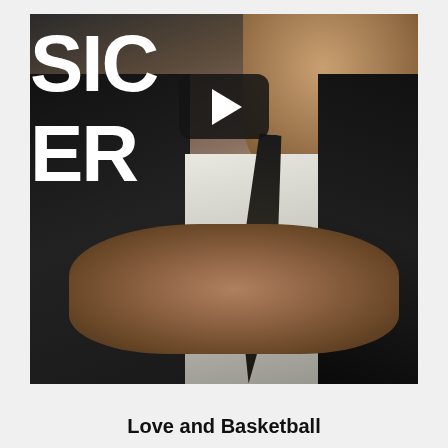[Figure (photo): A photograph showing a person in a suit with a dark tie, holding something red, with large white bold text overlaid on the left reading 'SIC' and 'ER' (partial words), and a YouTube play button icon overlay in the upper center]
Love and Basketball